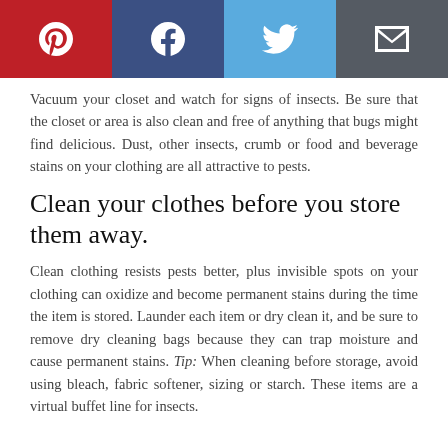[Figure (other): Social sharing bar with Pinterest, Facebook, Twitter, and Email icons]
Vacuum your closet and watch for signs of insects. Be sure that the closet or area is also clean and free of anything that bugs might find delicious. Dust, other insects, crumb or food and beverage stains on your clothing are all attractive to pests.
Clean your clothes before you store them away.
Clean clothing resists pests better, plus invisible spots on your clothing can oxidize and become permanent stains during the time the item is stored. Launder each item or dry clean it, and be sure to remove dry cleaning bags because they can trap moisture and cause permanent stains. Tip: When cleaning before storage, avoid using bleach, fabric softener, sizing or starch. These items are a virtual buffet line for insects.